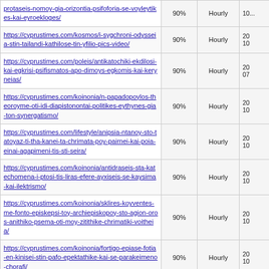| URL | Priority | Change Freq | Last Modified |
| --- | --- | --- | --- |
| https://cyprustimes.com/...protaseis-nomoy-gia-orizontia-psifoforia-se-voyleytikes-kai-eyroekloges/ | 90% | Hourly | 10... |
| https://cyprustimes.com/kosmos/i-sygchroni-odysseia-stin-tailandi-kathilose-tin-yfilio-pics-video/ | 90% | Hourly | 20... 10... |
| https://cyprustimes.com/poleis/antikatochiki-ekdilosi-kai-egkrisi-psifismatos-apo-dimoys-egkomis-kai-keryneias/ | 90% | Hourly | 20... 07... |
| https://cyprustimes.com/koinonia/n-papadopoylos-theoroyme-oti-idi-diapistonontai-politikes-eythynes-gia-ton-synergatismo/ | 90% | Hourly | 20... 10... |
| https://cyprustimes.com/lifestyle/anipsia-ntanoy-sto-tatoyaz-ti-tha-kanei-ta-chrimata-poy-pairnei-kai-poia-einai-agapimeni-tis-sti-seira/ | 90% | Hourly | 20... 10... |
| https://cyprustimes.com/koinonia/antidraseis-sta-katechomena-i-ptosi-tis-liras-efere-ayxiseis-se-kaysima-kai-ilektrismo/ | 90% | Hourly | 20... 10... |
| https://cyprustimes.com/koinonia/sklires-koyventes-me-fonto-episkepsi-toy-archiepiskopoy-sto-agion-oros-anithiko-psema-oti-moy-zitithike-chrimatiki-voitheia/ | 90% | Hourly | 20... 10... |
| https://cyprustimes.com/koinonia/fortigo-epiase-fotia-en-kinisei-stin-pafo-epektathike-kai-se-parakeimeno-chorafi/ | 90% | Hourly | 20... 10... |
| https://cyprustimes.com/ygeianews/vraveysi-kyprioy-nosileyti-gia-didaktoriki-ergasia-se-diagonismo-sto-mantsester/ | 90% | Hourly | 20... 04... |
| https://cyprustimes.com/ellada/simera-i-apofasi-gia-to-an-tha-ginei-i-synantisi-tsipra-erntogan/ | 90% | Hourly | 20... 10... |
| https://cyprustimes.com/kosmos/to-nato-tha-apeythynei-... | 90% | Hourly | 20... |